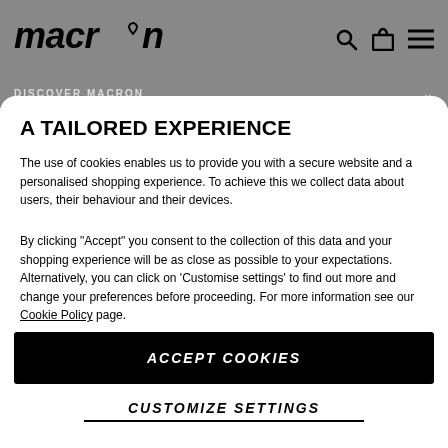macron
DISCOVER MACRON
A TAILORED EXPERIENCE
The use of cookies enables us to provide you with a secure website and a personalised shopping experience. To achieve this we collect data about users, their behaviour and their devices.
By clicking "Accept" you consent to the collection of this data and your shopping experience will be as close as possible to your expectations. Alternatively, you can click on 'Customise settings' to find out more and change your preferences before proceeding. For more information see our Cookie Policy page.
ACCEPT COOKIES
CUSTOMIZE SETTINGS